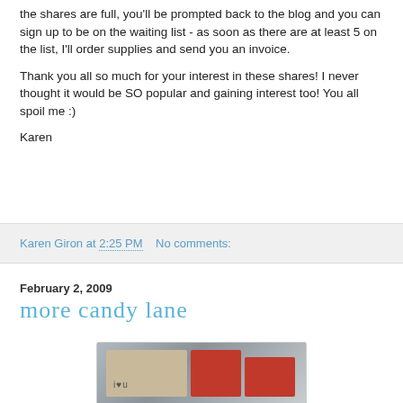the shares are full, you'll be prompted back to the blog and you can sign up to be on the waiting list - as soon as there are at least 5 on the list, I'll order supplies and send you an invoice.
Thank you all so much for your interest in these shares! I never thought it would be SO popular and gaining interest too! You all spoil me :)
Karen
Karen Giron at 2:25 PM   No comments:
February 2, 2009
more candy lane
[Figure (photo): Photo of handmade greeting cards including a tan card with 'i heart u' text and red cards with heart designs]